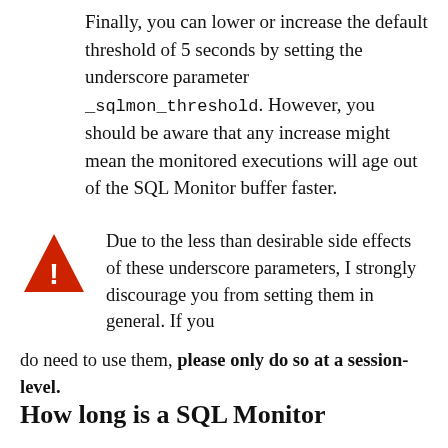Finally, you can lower or increase the default threshold of 5 seconds by setting the underscore parameter _sqlmon_threshold. However, you should be aware that any increase might mean the monitored executions will age out of the SQL Monitor buffer faster.
Due to the less than desirable side effects of these underscore parameters, I strongly discourage you from setting them in general. If you do need to use them, please only do so at a session-level.
How long is a SQL Monitor